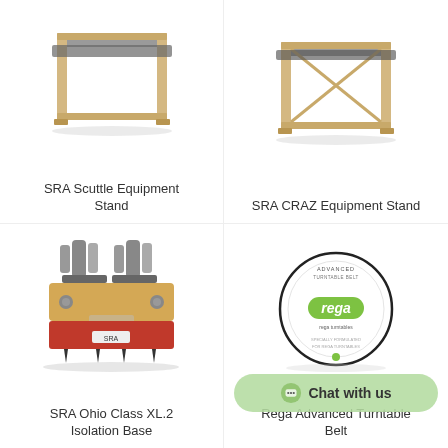[Figure (photo): SRA Scuttle Equipment Stand - wooden frame shelf unit viewed from front, light wood with dark platform]
SRA Scuttle Equipment Stand
[Figure (photo): SRA CRAZ Equipment Stand - wooden frame shelf unit similar to Scuttle, light wood frame]
SRA CRAZ Equipment Stand
[Figure (photo): SRA Ohio Class XL.2 Isolation Base - tube amplifier with vacuum tubes on top, wood body, red base with SRA label, black spike feet]
SRA Ohio Class XL.2 Isolation Base
[Figure (photo): Rega Advanced Turntable Belt - circular belt packaging with Rega logo in green, black circle, white background, text Advanced Turntable Belt]
Rega Advanced Turntable Belt